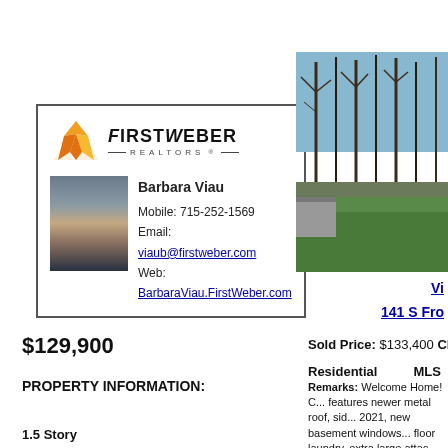[Figure (logo): FirstWeber Realtors logo with orange triangle/shield icon and agent Barbara Viau contact card]
Barbara Viau
Mobile: 715-252-1569
Email: viaub@firstweber.com
Web: BarbaraViau.FirstWeber.com
[Figure (photo): Outdoor property photo showing trees with bare branches against blue sky and green lawn]
Vi
141 S Fro
$129,900
Sold Price: $133,400  Close
Residential    MLS
PROPERTY INFORMATION:
Remarks: Welcome Home! C... features newer metal roof, sid... 2021, new basement windows... floor laundry, extra large attac... commute from I39 to Plover o... Large half acre lot with large n
1.5 Story